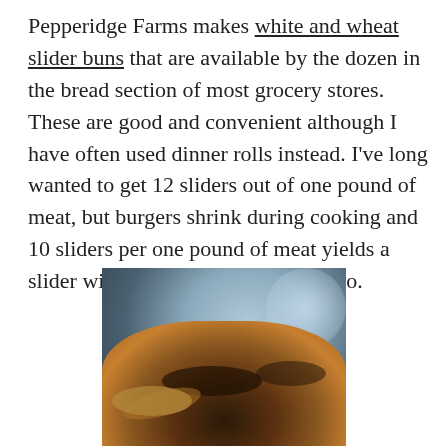Pepperidge Farms makes white and wheat slider buns that are available by the dozen in the bread section of most grocery stores.  These are good and convenient although I have often used dinner rolls instead.   I've long wanted to get 12 sliders out of one pound of meat, but burgers shrink during cooking and 10 sliders per one pound of meat yields a slider with a good bread to meat ratio.
[Figure (photo): A close-up photograph of sliders (small burgers) with caramelized toppings on buns, with a blurred background.]